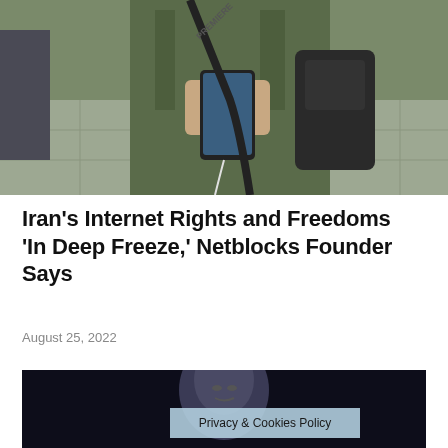[Figure (photo): Person in green jacket holding a smartphone, wearing earphones, walking on a street with a backpack]
Iran's Internet Rights and Freedoms 'In Deep Freeze,' Netblocks Founder Says
August 25, 2022
[Figure (photo): Dark background photo of a person, partially visible with a privacy and cookies policy banner overlay]
Privacy & Cookies Policy